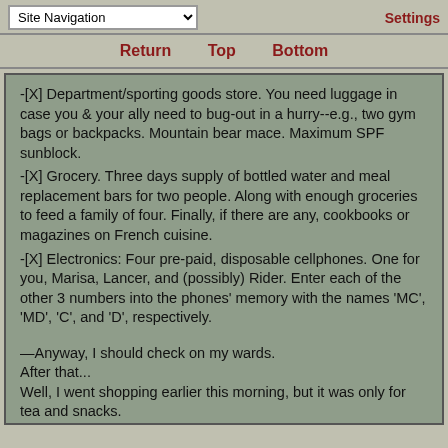Site Navigation | Settings
Return  Top  Bottom
-[X] Department/sporting goods store. You need luggage in case you & your ally need to bug-out in a hurry--e.g., two gym bags or backpacks. Mountain bear mace. Maximum SPF sunblock.
-[X] Grocery. Three days supply of bottled water and meal replacement bars for two people. Along with enough groceries to feed a family of four. Finally, if there are any, cookbooks or magazines on French cuisine.
-[X] Electronics: Four pre-paid, disposable cellphones. One for you, Marisa, Lancer, and (possibly) Rider. Enter each of the other 3 numbers into the phones' memory with the names 'MC', 'MD', 'C', and 'D', respectively.
—Anyway, I should check on my wards.
After that...
Well, I went shopping earlier this morning, but it was only for tea and snacks.
There are still several things I need to buy, if I intend...